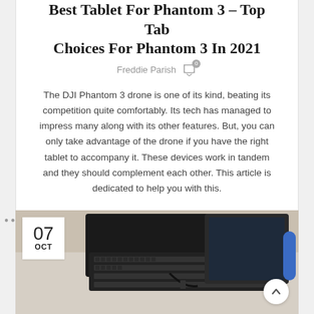Best Tablet For Phantom 3 – Top Tab Choices For Phantom 3 In 2021
Freddie Parish
The DJI Phantom 3 drone is one of its kind, beating its competition quite comfortably. Its tech has managed to impress many along with its other features. But, you can only take advantage of the drone if you have the right tablet to accompany it. These devices work in tandem and they should complement each other. This article is dedicated to help you with this.
CONTINUE READING
[Figure (photo): Photo of a tablet with a keyboard case connected by a cable, and a blue stylus, sitting on a desk. A date badge showing '07 OCT' is overlaid in the top-left corner. A scroll-to-top arrow button is in the bottom-right.]